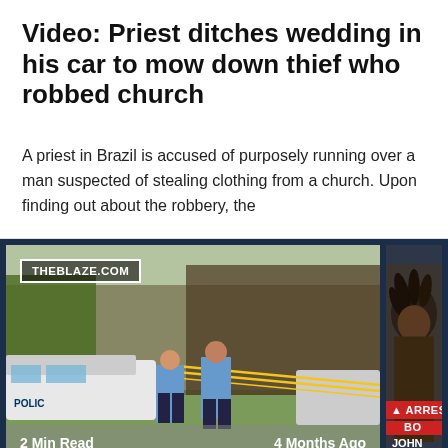Video: Priest ditches wedding in his car to mow down thief who robbed church
A priest in Brazil is accused of purposely running over a man suspected of stealing clothing from a church. Upon finding out about the robbery, the
[Figure (photo): News article thumbnail showing a police crime scene with two officers in blue shirts standing near a police SUV with yellow crime scene tape in the background. A badge reads THEBLAZE.COM. Bottom left shows '2 Min Read'. On the right side is a partial photo of a person with an ARRES(T) overlay banner and text including 'BO(Y)' and 'JOHN'. Bottom right shows '4 Months Ago'.]